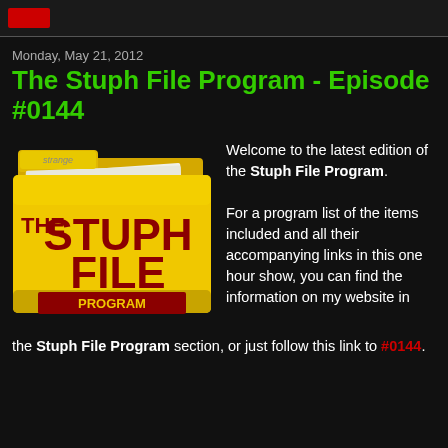Monday, May 21, 2012
The Stuph File Program - Episode #0144
[Figure (logo): The Stuph File Program folder logo — a yellow folder with 'THE STUPH FILE PROGRAM' text, red lettering, and a small tag reading 'strange']
Welcome to the latest edition of the Stuph File Program.

For a program list of the items included and all their accompanying links in this one hour show, you can find the information on my website in the Stuph File Program section, or just follow this link to #0144.